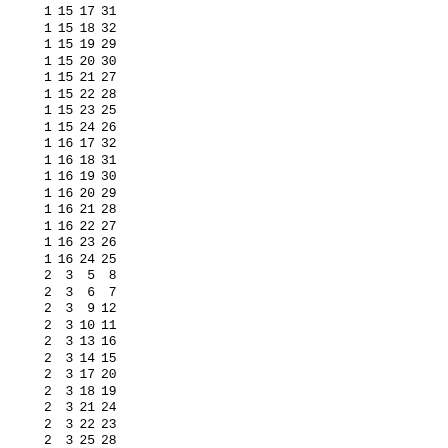| 1 | 15 | 17 | 31 |
| 1 | 15 | 18 | 32 |
| 1 | 15 | 19 | 29 |
| 1 | 15 | 20 | 30 |
| 1 | 15 | 21 | 27 |
| 1 | 15 | 22 | 28 |
| 1 | 15 | 23 | 25 |
| 1 | 15 | 24 | 26 |
| 1 | 16 | 17 | 32 |
| 1 | 16 | 18 | 31 |
| 1 | 16 | 19 | 30 |
| 1 | 16 | 20 | 29 |
| 1 | 16 | 21 | 28 |
| 1 | 16 | 22 | 27 |
| 1 | 16 | 23 | 26 |
| 1 | 16 | 24 | 25 |
| 2 | 3 | 5 | 8 |
| 2 | 3 | 6 | 7 |
| 2 | 3 | 9 | 12 |
| 2 | 3 | 10 | 11 |
| 2 | 3 | 13 | 16 |
| 2 | 3 | 14 | 15 |
| 2 | 3 | 17 | 20 |
| 2 | 3 | 18 | 19 |
| 2 | 3 | 21 | 24 |
| 2 | 3 | 22 | 23 |
| 2 | 3 | 25 | 28 |
| 2 | 3 | 26 | 27 |
| 2 | 3 | 29 | 32 |
| 2 | 3 | 30 | 31 |